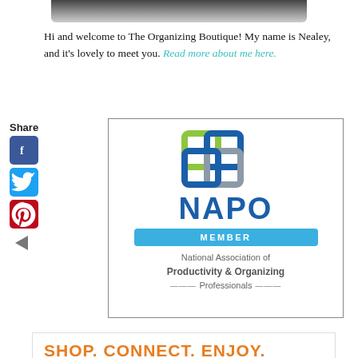[Figure (photo): Top portion of a person's photo, cropped, showing upper body/head area in grayscale]
Hi and welcome to The Organizing Boutique! My name is Nealey, and it's lovely to meet you. Read more about me here.
Share
[Figure (logo): NAPO Member badge - National Association of Productivity & Organizing Professionals logo with interlocking colored squares and MEMBER bar]
[Figure (infographic): Shop. Connect. Enjoy. advertisement banner with product images]